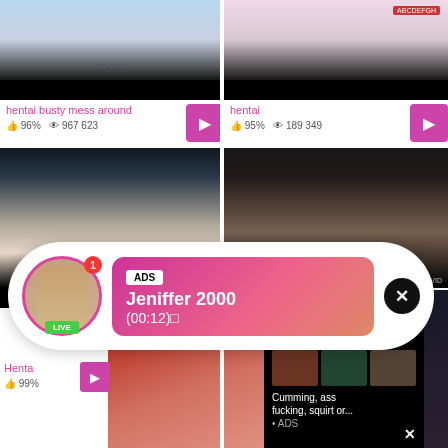[Figure (screenshot): Adult video thumbnail top left - hentai animation]
hentai busty mess around
96%  967 623
[Figure (screenshot): Adult video thumbnail top right - hentai animation]
hentai
95%  189 349
[Figure (screenshot): Adult video thumbnail middle left - hentai animation]
[Figure (screenshot): Adult video thumbnail middle right]
[Figure (infographic): Ad popup overlay: profile photo of woman with LIVE badge, notification badge showing 1, pink gradient box with ADS tag, name Jeniffer 2000, time (00:12), X close button]
ADS
Jeniffer 2000
(00:12)
[Figure (screenshot): Bottom section - adult video thumbnail with woman]
Henta
99%
[Figure (infographic): Ad box: WHAT DO YOU WANT? WATCH button, Online indicator, three thumbnail images, text: Cumming, ass fucking, squirt or... • ADS, X close button]